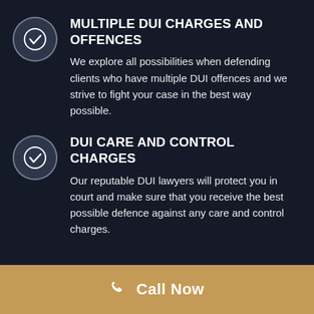MULTIPLE DUI CHARGES AND OFFENCES
We explore all possibilities when defending clients who have multiple DUI offences and we strive to fight your case in the best way possible.
DUI CARE AND CONTROL CHARGES
Our reputable DUI lawyers will protect you in court and make sure that you receive the best possible defence against any care and control charges.
Call Now